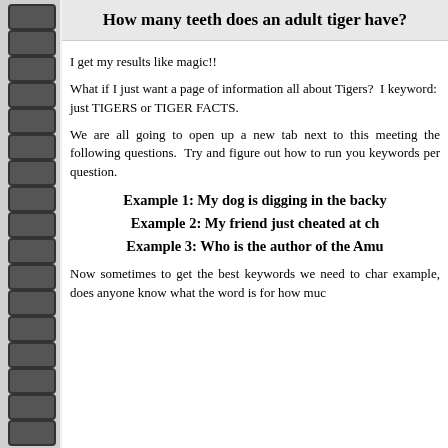How many teeth does an adult tiger have?
I get my results like magic!!
What if I just want a page of information all about Tigers?  I keyword:  just TIGERS or TIGER FACTS.
We are all going to open up a new tab next to this meeting the following questions.  Try and figure out how to run you keywords per question.
Example 1: My dog is digging in the backy
Example 2: My friend just cheated at ch
Example 3: Who is the author of the Amu
Now sometimes to get the best keywords we need to char example, does anyone know what the word is for how muc